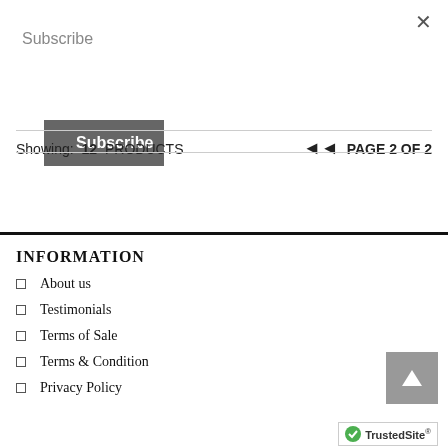×
Subscribe
Subscribe
Showing: 12 PRODUCTS  ◄◄  PAGE 2 OF 2
INFORMATION
About us
Testimonials
Terms of Sale
Terms & Condition
Privacy Policy